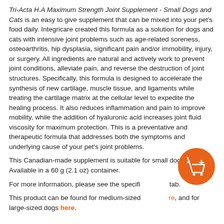Tri-Acta H.A Maximum Strength Joint Supplement - Small Dogs and Cats is an easy to give supplement that can be mixed into your pet's food daily. Integricare created this formula as a solution for dogs and cats with intensive joint problems such as age-related soreness, osteoarthritis, hip dysplasia, significant pain and/or immobility, injury, or surgery. All ingredients are natural and actively work to prevent joint conditions, alleviate pain, and reverse the destruction of joint structures. Specifically, this formula is designed to accelerate the synthesis of new cartilage, muscle tissue, and ligaments while treating the cartilage matrix at the cellular level to expedite the healing process. It also reduces inflammation and pain to improve mobility, while the addition of hyaluronic acid increases joint fluid viscosity for maximum protection. This is a preventative and therapeutic formula that addresses both the symptoms and underlying cause of your pet's joint problems.
This Canadian-made supplement is suitable for small dogs and cats. Available in a 60 g (2.1 oz) container.
For more information, please see the specifications tab.
This product can be found for medium-sized dogs here, and for large-sized dogs here.